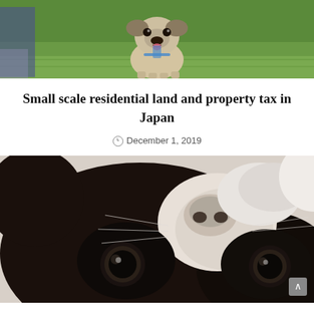[Figure (photo): A pug dog standing on green grass, viewed from the front, with a person partially visible on the left side.]
Small scale residential land and property tax in Japan
December 1, 2019
[Figure (photo): Close-up photo of a black and white puppy (Boston Terrier or similar breed) with its head tilted upside down, showing large round eyes and a prominent nose.]